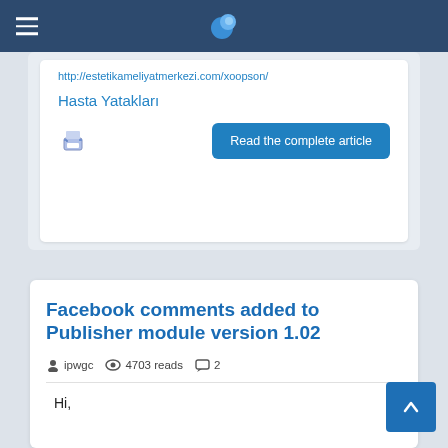Navigation bar with hamburger menu and globe logo
http://estetikameliyatmerkezi.com/xoopson/
Hasta Yatakları
Read the complete article
Facebook comments added to Publisher module version 1.02
ipwgc  4703 reads  2
Hi,